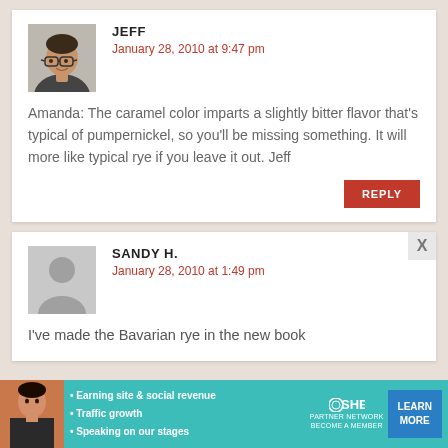JEFF
January 28, 2010 at 9:47 pm
Amanda: The caramel color imparts a slightly bitter flavor that’s typical of pumpernickel, so you’ll be missing something. It will more like typical rye if you leave it out. Jeff
REPLY
SANDY H.
January 28, 2010 at 1:49 pm
I've made the Bavarian rye in the new book
[Figure (infographic): SHE Partner Network advertisement banner with woman, bullet points about earning site and social revenue, traffic growth, speaking on stages, SHE logo, and LEARN MORE button]